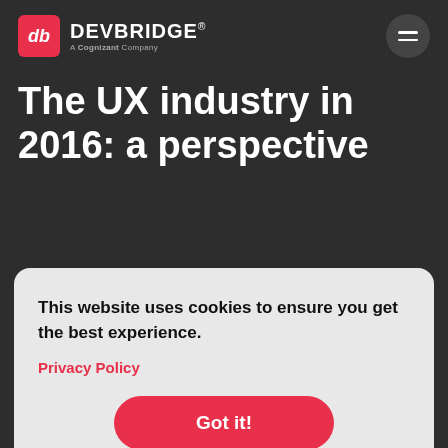db DEVBRIDGE® A Cognizant Company
The UX industry in 2016: a perspective
This website uses cookies to ensure you get the best experience.
Privacy Policy
Got it!